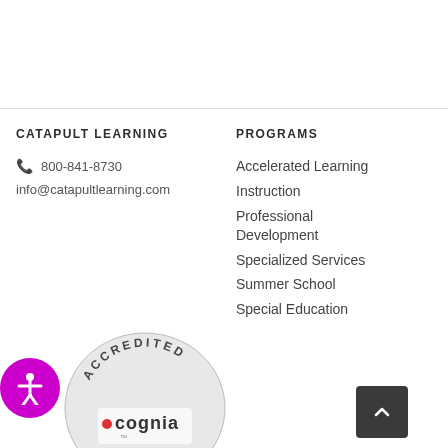CATAPULT LEARNING
PROGRAMS
800-841-8730
info@catapultlearning.com
Accelerated Learning
Instruction
Professional Development
Specialized Services
Summer School
Special Education
[Figure (logo): Cognia Accredited badge - circular grey badge with ACCREDITED text and cognia logo]
[Figure (illustration): Purple accessibility icon button with white person figure]